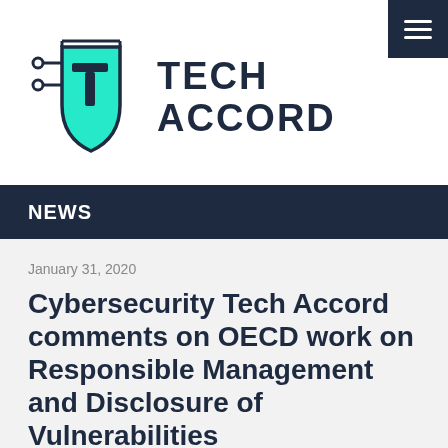[Figure (logo): Cybersecurity Tech Accord logo: a shield with circuit-board lines and a stylized T letter in teal/mint color, with 'TECH ACCORD' text in dark navy bold font to the right]
NEWS
January 31, 2020
Cybersecurity Tech Accord comments on OECD work on Responsible Management and Disclosure of Vulnerabilities